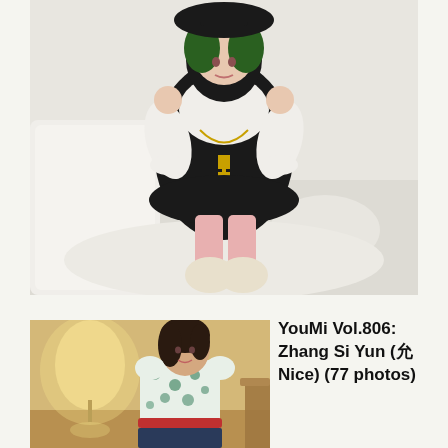[Figure (photo): Cosplay photo of a person in a black and white gothic lolita costume with green hair, kneeling on a white surface, wearing a black dress with gold chain and cross necklace, white frilly sleeves, and fluffy cream-colored shoes.]
[Figure (photo): Photo of a woman in a floral print short-sleeve shirt with a red belt, standing in a warmly lit room with a lamp and ornate furniture in the background.]
YouMi Vol.806: Zhang Si Yun (张思允Nice) (77 photos)